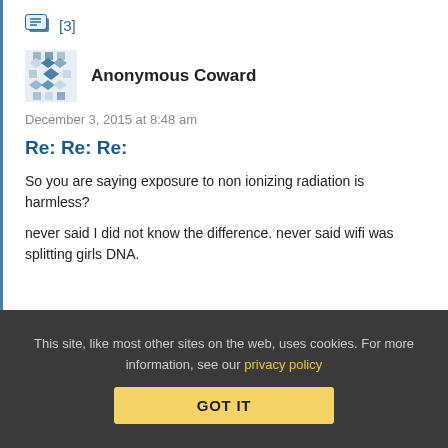[Figure (illustration): Chat/comment icon with [3] label in blue]
[Figure (illustration): Avatar: blue geometric/diamond pattern identicon for Anonymous Coward]
Anonymous Coward
December 3, 2015 at 8:48 am
Re: Re: Re:
So you are saying exposure to non ionizing radiation is harmless?
never said I did not know the difference. never said wifi was splitting girls DNA.
This site, like most other sites on the web, uses cookies. For more information, see our privacy policy
GOT IT